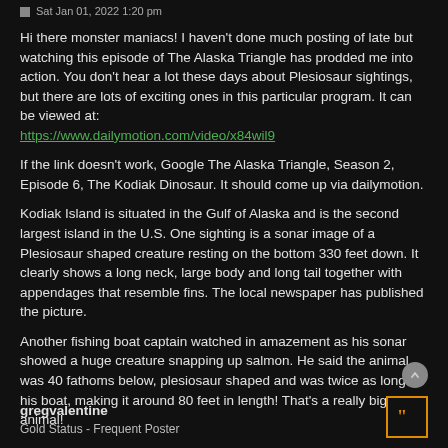Sat Jan 01, 2022 1:20 pm
Hi there monster maniacs! I haven't done much posting of late but watching this episode of The Alaska Triangle has prodded me into action. You don't hear a lot these days about Plesiosaur sightings, but there are lots of exciting ones in this particular program. It can be viewed at: https://www.dailymotion.com/video/x84wil9
If the link doesn't work, Google The Alaska Triangle, Season 2, Episode 6, The Kodiak Dinosaur. It should come up via dailymotion.
Kodiak Island is situated in the Gulf of Alaska and is the second largest island in the U.S. One sighting is a sonar image of a Plesiosaur shaped creature resting on the bottom 330 feet down. It clearly shows a long neck, large body and long tail together with appendages that resemble fins. The local newspaper has published the picture.
Another fishing boat captain watched in amazement as his sonar showed a huge creature snapping up salmon. He said the animal was 40 fathoms below, plesiosaur shaped and was twice as long as his boat, making it around 80 feet in length! That's a really big animal!
gregvalentine
Gold Status - Frequent Poster